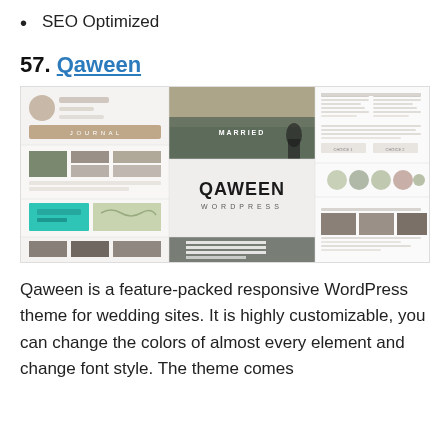SEO Optimized
57. Qaween
[Figure (screenshot): Collage of Qaween WordPress theme mockups showing wedding site layouts including a 'MARRIED' hero image, QAWEEN WORDPRESS branding, a teal contact section with map, photo galleries, and a team/contact page with profile icons.]
Qaween is a feature-packed responsive WordPress theme for wedding sites. It is highly customizable, you can change the colors of almost every element and change font style. The theme comes